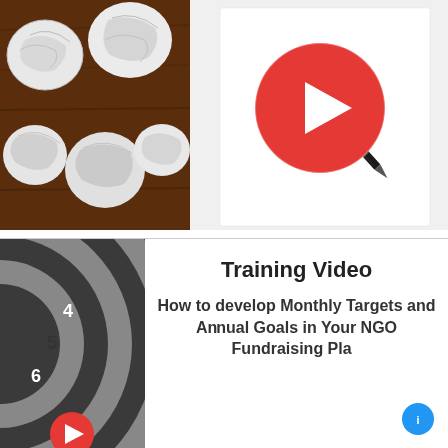[Figure (photo): Composite image: left half shows crumpled paper balls on a dark wood surface; right half shows a blank white paper with a black pen on a light surface, overlaid with a red circular play button icon in the center]
[Figure (photo): Partial view of a dartboard/target in grayscale on the left side, with numbers 4, 5, 6 visible on the rings]
Training Video
How to develop Monthly Targets and Annual Goals in Your NGO Fundraising Plan